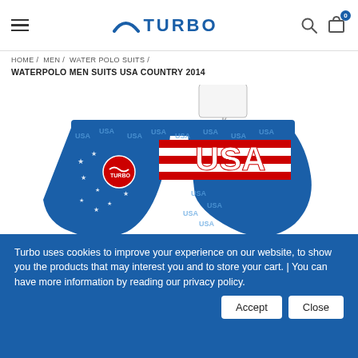TURBO
HOME / MEN / WATER POLO SUITS / WATERPOLO MEN SUITS USA COUNTRY 2014
[Figure (photo): Turbo waterpolo men suit USA Country 2014 - blue swimsuit with American flag design, red and white stripes, stars, and USA text pattern, with Turbo logo. Product tag attached.]
Turbo uses cookies to improve your experience on our website, to show you the products that may interest you and to store your cart. | You can have more information by reading our privacy policy.